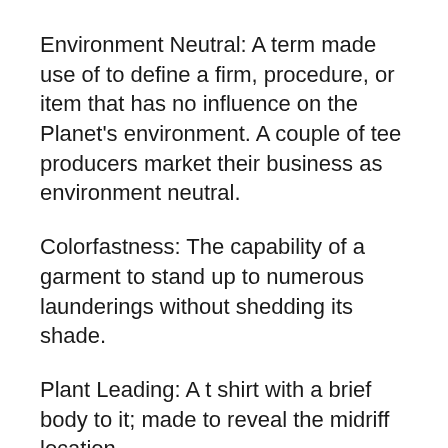Environment Neutral: A term made use of to define a firm, procedure, or item that has no influence on the Planet's environment. A couple of tee producers market their business as environment neutral.
Colorfastness: The capability of a garment to stand up to numerous launderings without shedding its shade.
Plant Leading: A t shirt with a brief body to it; made to reveal the midriff location.
Cap Sleeves: Generally describes much shorter sleeves on ladies's garments.
Bamboo Material: Rayon made from bamboo